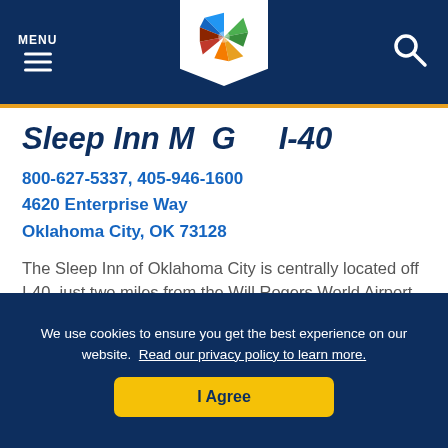MENU | [Logo] | [Search]
Sleep Inn McGee I-40
800-627-5337, 405-946-1600
4620 Enterprise Way
Oklahoma City, OK 73128
The Sleep Inn of Oklahoma City is centrally located off I-40, just two miles from the Will Rogers World Airport. Guests can...
MEHR LESEN >
We use cookies to ensure you get the best experience on our website. Read our privacy policy to learn more.
I Agree